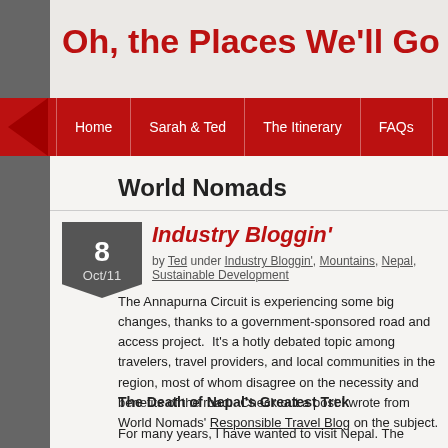Oh, the Places We'll Go
Home | Sarah & Ted | The Itinerary | FAQs
World Nomads
Industry Bloggin'
by Ted under Industry Bloggin', Mountains, Nepal, Sustainable Development
The Annapurna Circuit is experiencing some big changes, thanks to a government-sponsored road and access project.  It's a hotly debated topic among travelers, travel providers, and local communities in the region, most of whom disagree on the necessity and benefits of the road.  Check out a post I wrote from World Nomads' Responsible Travel Blog on the subject.
The Death of Nepal's Greatest Trek
For many years, I have wanted to visit Nepal. The massive Himalayan rang...